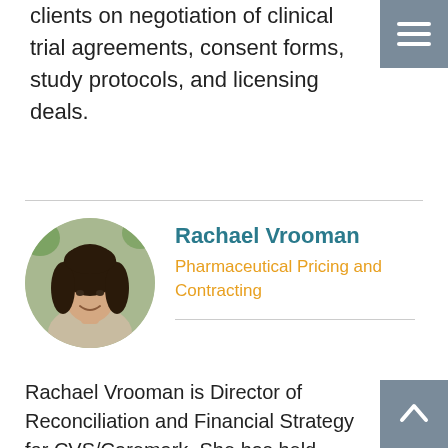clients on negotiation of clinical trial agreements, consent forms, study protocols, and licensing deals.
Rachael Vrooman
Pharmaceutical Pricing and Contracting
Rachael Vrooman is Director of Reconciliation and Financial Strategy for CVS/Caremark. She has held senior management...